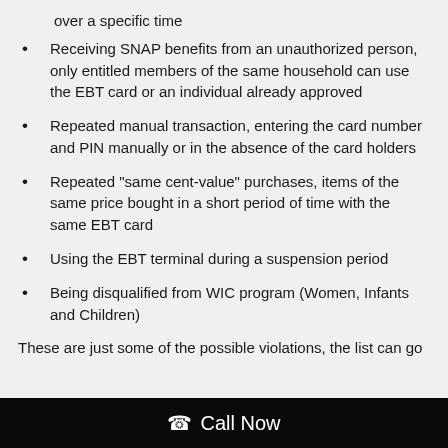over a specific time
Receiving SNAP benefits from an unauthorized person, only entitled members of the same household can use the EBT card or an individual already approved
Repeated manual transaction, entering the card number and PIN manually or in the absence of the card holders
Repeated "same cent-value" purchases, items of the same price bought in a short period of time with the same EBT card
Using the EBT terminal during a suspension period
Being disqualified from WIC program (Women, Infants and Children)
These are just some of the possible violations, the list can go